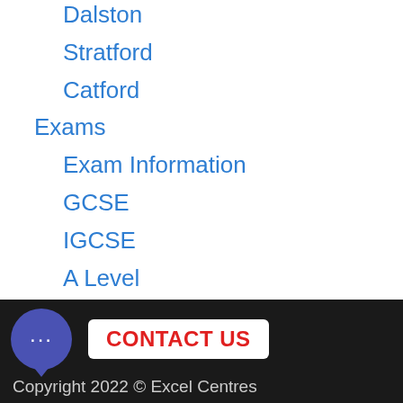Dalston
Stratford
Catford
Exams
Exam Information
GCSE
IGCSE
A Level
Functional Skills
Science Practicals
Exams Applications
Prices
CONTACT US  Copyright 2022 © Excel Centres